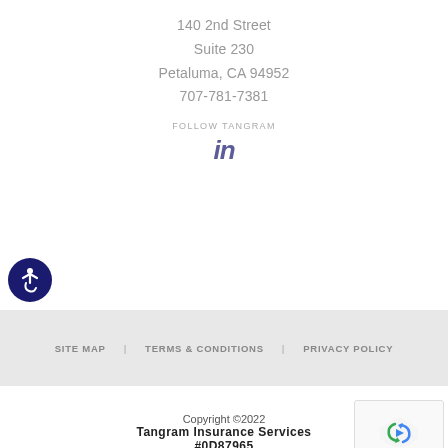140 2nd Street
Suite 230
Petaluma, CA 94952
707-781-7381
FOLLOW TANGRAM
[Figure (logo): LinkedIn 'in' icon in purple/navy italic style]
[Figure (illustration): Accessibility icon: white wheelchair user on dark navy circular background]
SITE MAP   TERMS & CONDITIONS   PRIVACY POLICY
Copyright ©2022
Tangram Insurance Services
#0D87965
[Figure (other): reCAPTCHA widget with Google logo showing Privacy - Terms text]